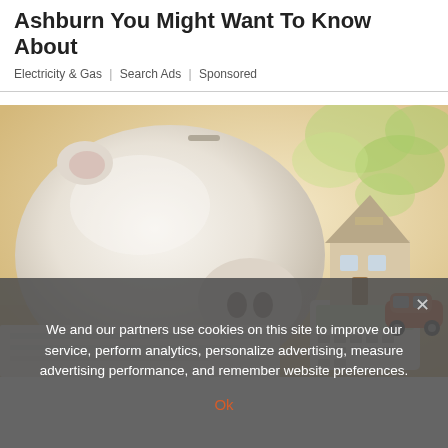Ashburn You Might Want To Know About
Electricity & Gas | Search Ads | Sponsored
[Figure (photo): A white ceramic piggy bank on papers next to a miniature house model and a small orange toy car on a calculator, with soft green foliage in the background.]
We and our partners use cookies on this site to improve our service, perform analytics, personalize advertising, measure advertising performance, and remember website preferences.
Ok